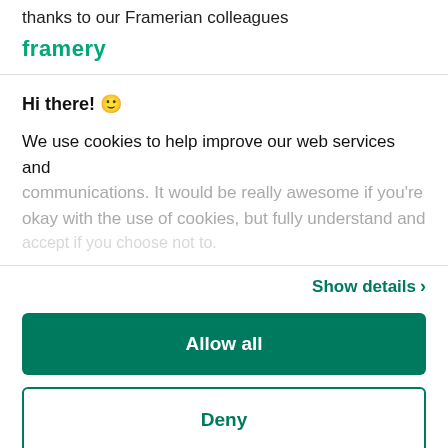thanks to our Framerian colleagues
[Figure (logo): Framery logo in teal/green color]
Hi there! 🙂
We use cookies to help improve our web services and communications. It would be really awesome if you're okay with the use of cookies, but fully understand and
Show details >
Allow all
Deny
Powered by Cookiebot by Usercentrics